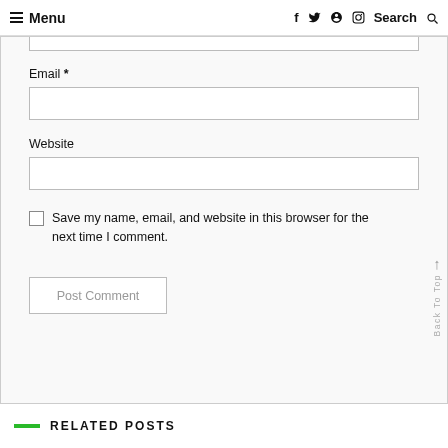≡ Menu   f  twitter  pinterest  instagram  Search 🔍
Email *
Website
Save my name, email, and website in this browser for the next time I comment.
Post Comment
Back To Top
RELATED POSTS